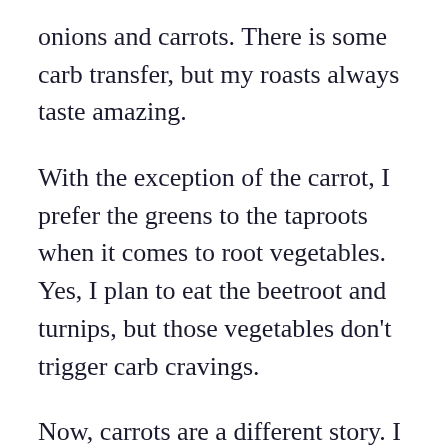onions and carrots. There is some carb transfer, but my roasts always taste amazing.
With the exception of the carrot, I prefer the greens to the taproots when it comes to root vegetables. Yes, I plan to eat the beetroot and turnips, but those vegetables don't trigger carb cravings.
Now, carrots are a different story. I LOVE carrots. I'm growing three different types of carrots. Far too many for me and the husband. Why